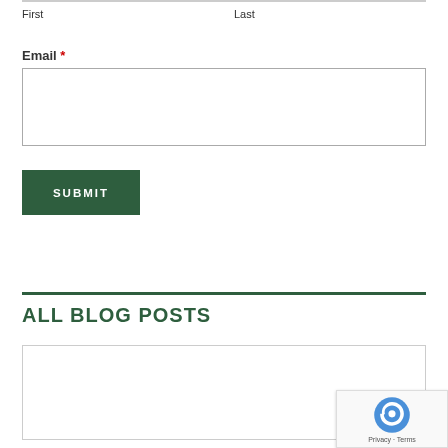First
Last
Email *
SUBMIT
ALL BLOG POSTS
September 2017  (22)